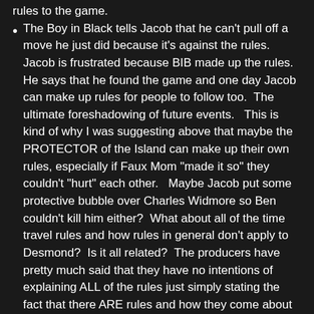rules to the game.
The Boy in Black tells Jacob that he can't pull off a move he just did because it's against the rules. Jacob is frustrated because BIB made up the rules.  He says that he found the game and one day Jacob can make up rules for people to follow too.  The ultimate foreshadowing of future events.   This is kind of why I was suggesting above that maybe the PROTECTOR of the Island can make up their own rules, especially if Faux Mom "made it so" they couldn't "hurt" each other.   Maybe Jacob put some protective bubble over Charles Widmore so Ben couldn't kill him either?  What about all of the time travel rules and how rules in general don't apply to Desmond?  Is it all related?  The producers have pretty much said that they have no intentions of explaining ALL of the rules just simply stating the fact that there ARE rules and how they come about is the key.  So it would seem that these scenes are what are defining how rules get put into place.   Satisfied?  Probably not everyone, but I'm cool with it.  Of course, I have also been accused of